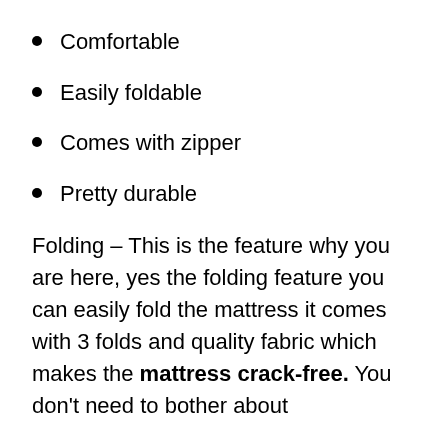Comfortable
Easily foldable
Comes with zipper
Pretty durable
Folding – This is the feature why you are here, yes the folding feature you can easily fold the mattress it comes with 3 folds and quality fabric which makes the mattress crack-free. You don't need to bother about